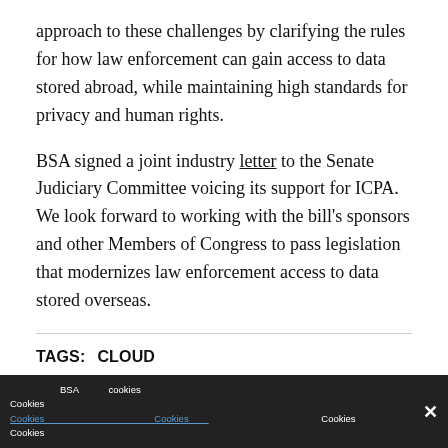approach to these challenges by clarifying the rules for how law enforcement can gain access to data stored abroad, while maintaining high standards for privacy and human rights.
BSA signed a joint industry letter to the Senate Judiciary Committee voicing its support for ICPA. We look forward to working with the bill's sponsors and other Members of Congress to pass legislation that modernizes law enforcement access to data stored overseas.
TAGS:  CLOUD
[Figure (logo): BSA logo with two small squares and bold BSA text]
Cookie consent bar with BSA cookies notice text and close button